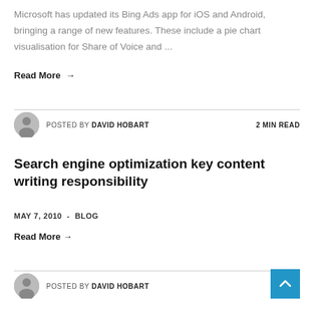Microsoft has updated its Bing Ads app for iOS and Android, bringing a range of new features. These include a pie chart visualisation for Share of Voice and ...
Read More →
POSTED BY DAVID HOBART   2 MIN READ
Search engine optimization key content writing responsibility
MAY 7, 2010  -  BLOG
Read More →
POSTED BY DAVID HOBART   1 MIN READ